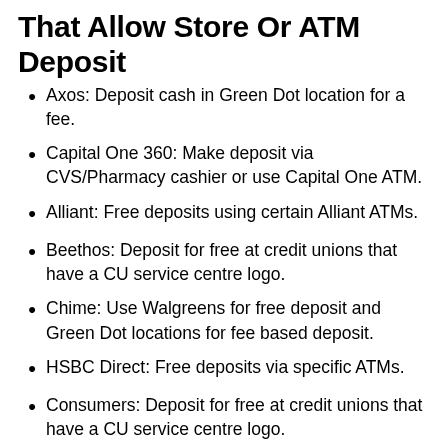That Allow Store Or ATM Deposit
Axos: Deposit cash in Green Dot location for a fee.
Capital One 360: Make deposit via CVS/Pharmacy cashier or use Capital One ATM.
Alliant: Free deposits using certain Alliant ATMs.
Beethos: Deposit for free at credit unions that have a CU service centre logo.
Chime: Use Walgreens for free deposit and Green Dot locations for fee based deposit.
HSBC Direct: Free deposits via specific ATMs.
Consumers: Deposit for free at credit unions that have a CU service centre logo.
CIBC Bank: CIBC Bank has some ATMs for free cash deposit.